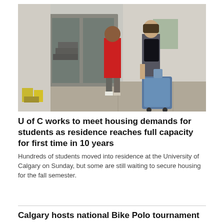[Figure (photo): Two students walking toward the entrance of a university residence building. One wears a red t-shirt, the other carries a large blue rolling suitcase and a backpack. Moving-in boxes and items are visible near the entrance.]
U of C works to meet housing demands for students as residence reaches full capacity for first time in 10 years
Hundreds of students moved into residence at the University of Calgary on Sunday, but some are still waiting to secure housing for the fall semester.
Calgary hosts national Bike Polo tournament